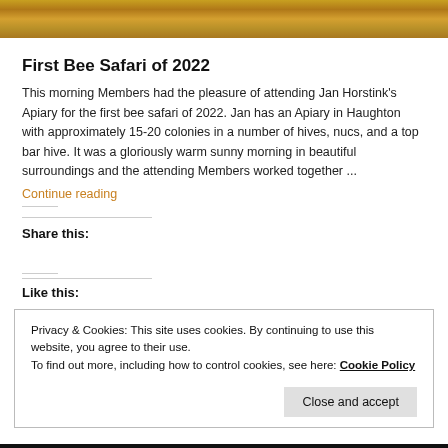[Figure (photo): Top strip showing bees or honey-colored background image]
First Bee Safari of 2022
This morning Members had the pleasure of attending Jan Horstink's Apiary for the first bee safari of 2022. Jan has an Apiary in Haughton with approximately 15-20 colonies in a number of hives, nucs, and a top bar hive. It was a gloriously warm sunny morning in beautiful surroundings and the attending Members worked together ...
Continue reading
Share this:
Like this:
Privacy & Cookies: This site uses cookies. By continuing to use this website, you agree to their use.
To find out more, including how to control cookies, see here: Cookie Policy
Close and accept